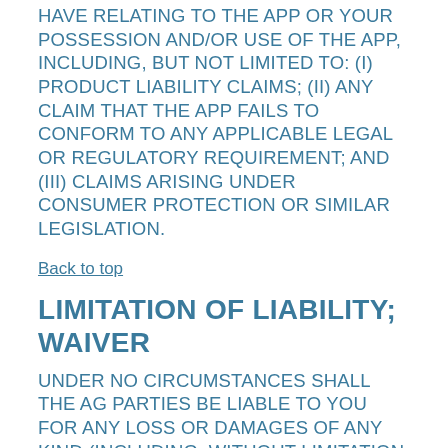HAVE RELATING TO THE APP OR YOUR POSSESSION AND/OR USE OF THE APP, INCLUDING, BUT NOT LIMITED TO: (I) PRODUCT LIABILITY CLAIMS; (II) ANY CLAIM THAT THE APP FAILS TO CONFORM TO ANY APPLICABLE LEGAL OR REGULATORY REQUIREMENT; AND (III) CLAIMS ARISING UNDER CONSUMER PROTECTION OR SIMILAR LEGISLATION.
Back to top
LIMITATION OF LIABILITY; WAIVER
UNDER NO CIRCUMSTANCES SHALL THE AG PARTIES BE LIABLE TO YOU FOR ANY LOSS OR DAMAGES OF ANY KIND (INCLUDING, WITHOUT LIMITATION, FOR ANY DIRECT, INDIRECT, SPECIAL, CONSEQUENTIAL,